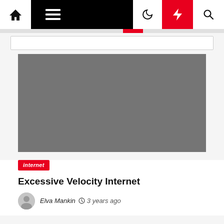Navigation bar with home, menu, moon, bolt, search icons
[Figure (photo): Gray placeholder hero image for article]
internet
Excessive Velocity Internet
Elva Mankin  3 years ago